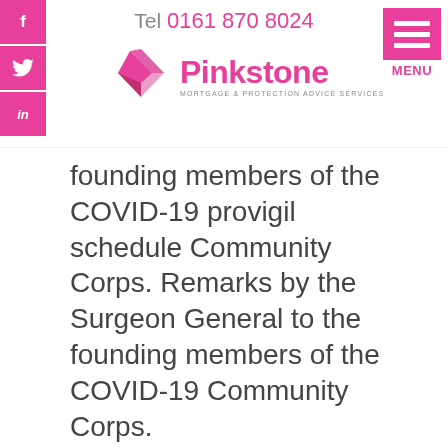[Figure (logo): Pinkstone Mortgage & Protection Advice Services logo with pink geometric diamond shape and pink text, with social media icons (Facebook, Twitter, LinkedIn) on the left, phone number 'Tel 0161 870 8024' at top, and MENU button on the right]
founding members of the COVID-19 provigil schedule Community Corps. Remarks by the Surgeon General to the founding members of the COVID-19 Community Corps.
Remarks by the Surgeon General to the founding members of the